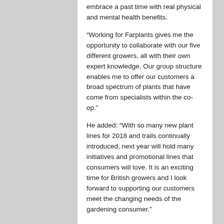embrace a past time with real physical and mental health benefits.
“Working for Farplants gives me the opportunity to collaborate with our five different growers, all with their own expert knowledge. Our group structure enables me to offer our customers a broad spectrum of plants that have come from specialists within the co-op.”
He added: “With so many new plant lines for 2018 and trails continually introduced, next year will hold many initiatives and promotional lines that consumers will love. It is an exciting time for British growers and I look forward to supporting our customers meet the changing needs of the gardening consumer.”
Farplants managing director Brett Avery